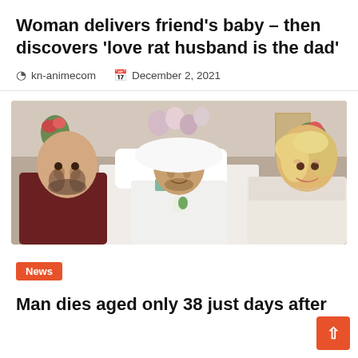Woman delivers friend’s baby – then discovers ‘love rat husband is the dad’
kn-animecom   December 2, 2021
[Figure (photo): Three people posing together in a hospital room. A bald man with a beard on the left, a thin bald man lying in a hospital bed in the center wearing a white shirt with a flower boutonniere, and a blonde woman on the right wearing a white wedding dress with a tiara. Balloons and flowers are visible in the background.]
News
Man dies aged only 38 just days after marrying the love of his life